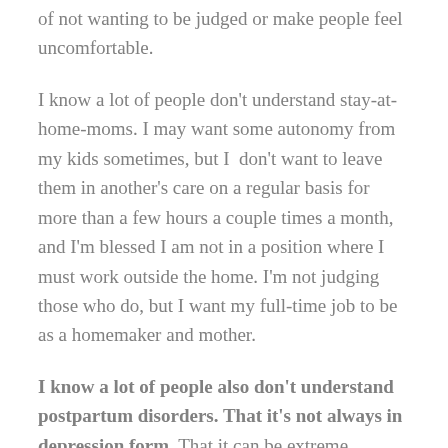of not wanting to be judged or make people feel uncomfortable.
I know a lot of people don't understand stay-at-home-moms. I may want some autonomy from my kids sometimes, but I don't want to leave them in another's care on a regular basis for more than a few hours a couple times a month, and I'm blessed I am not in a position where I must work outside the home. I'm not judging those who do, but I want my full-time job to be as a homemaker and mother.
I know a lot of people also don't understand postpartum disorders. That it's not always in depression form. That it can be extreme irritability and anger and look like marriage and self-control